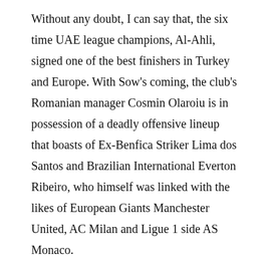Without any doubt, I can say that, the six time UAE league champions, Al-Ahli, signed one of the best finishers in Turkey and Europe. With Sow's coming, the club's Romanian manager Cosmin Olaroiu is in possession of a deadly offensive lineup that boasts of Ex-Benfica Striker Lima dos Santos and Brazilian International Everton Ribeiro, who himself was linked with the likes of European Giants Manchester United, AC Milan and Ligue 1 side AS Monaco.
But it won't be an easy ride for Sow as he will have to adapt himself in a style of play of that is more lenient as well as to the treacherous weather conditions that exist for a few months during the season. Apart from that, he will have to compete with opponents, who have a similar knack of scoring goals like Al-Jazira's Mirko Vucinic, Al Shabab's Ale Sherif b...